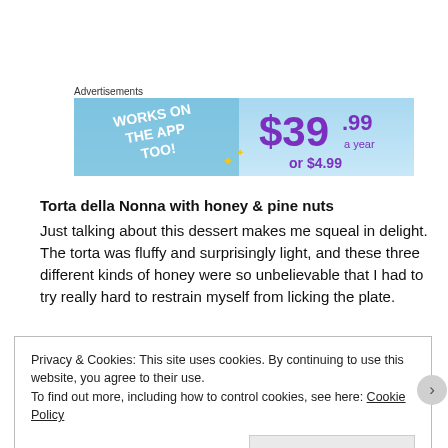Advertisements
[Figure (illustration): Advertisement banner showing 'WORKS ON THE APP TOO!' in white bold text on blue background, with '$39.99 a year or $4.99' in purple text]
Torta della Nonna with honey & pine nuts
Just talking about this dessert makes me squeal in delight. The torta was fluffy and surprisingly light, and these three different kinds of honey were so unbelievable that I had to try really hard to restrain myself from licking the plate.
Privacy & Cookies: This site uses cookies. By continuing to use this website, you agree to their use.
To find out more, including how to control cookies, see here: Cookie Policy
Close and accept